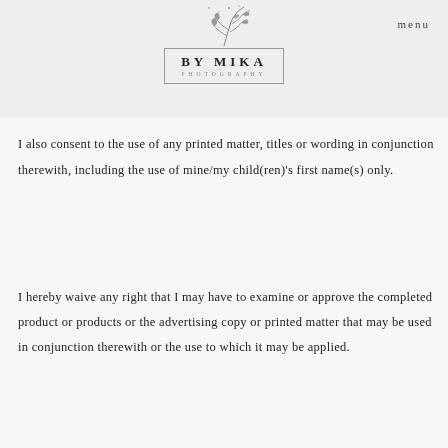[Figure (logo): By Mika Photography logo with botanical leaf illustration above a rectangular border containing 'BY MIKA' in bold and 'PHOTOGRAPHY' in small caps below]
menu
I also consent to the use of any printed matter, titles or wording in conjunction therewith, including the use of mine/my child(ren)'s first name(s) only.
I hereby waive any right that I may have to examine or approve the completed product or products or the advertising copy or printed matter that may be used in conjunction therewith or the use to which it may be applied.